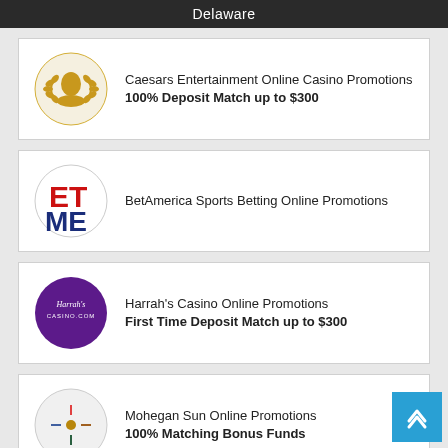Delaware
Caesars Entertainment Online Casino Promotions 100% Deposit Match up to $300
BetAmerica Sports Betting Online Promotions
Harrah's Casino Online Promotions First Time Deposit Match up to $300
Mohegan Sun Online Promotions 100% Matching Bonus Funds
Party Poker Online